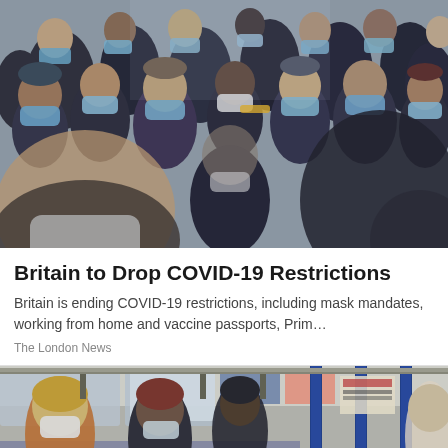[Figure (photo): A large crowd of people wearing blue and white face masks, tightly packed together outdoors in a public space, photographed from the front with shallow depth of field.]
Britain to Drop COVID-19 Restrictions
Britain is ending COVID-19 restrictions, including mask mandates, working from home and vaccine passports, Prim…
The London News
[Figure (photo): Passengers wearing face masks seated and standing inside a London Underground tube train carriage, with blue vertical poles visible.]